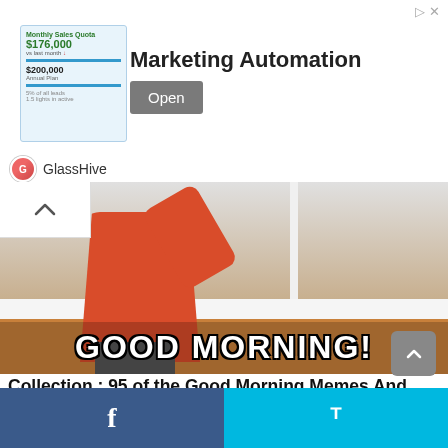[Figure (screenshot): Advertisement banner for GlassHive Marketing Automation with document graphics, 'Marketing Automation' text, and an 'Open' button]
[Figure (photo): Meme image of a person in a red/orange jacket with text 'GOOD MORNING!' overlaid at the bottom, with a share count of 0 Shares]
Collection : 95 of the Good Morning Memes And Images Positive Energy for Good Morning
by Lily saint J. • about a year ago